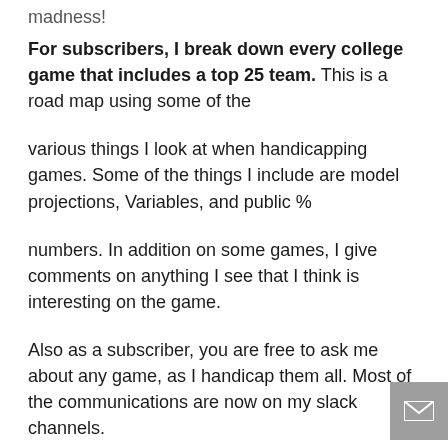madness!
For subscribers, I break down every college game that includes a top 25 team. This is a road map using some of the
various things I look at when handicapping games. Some of the things I include are model projections, Variables, and public %
numbers. In addition on some games, I give comments on anything I see that I think is interesting on the game.
Also as a subscriber, you are free to ask me about any game, as I handicap them all. Most of the communications are now on my slack channels.
If you wish to join us for the next 30 days I have made it easy for you: